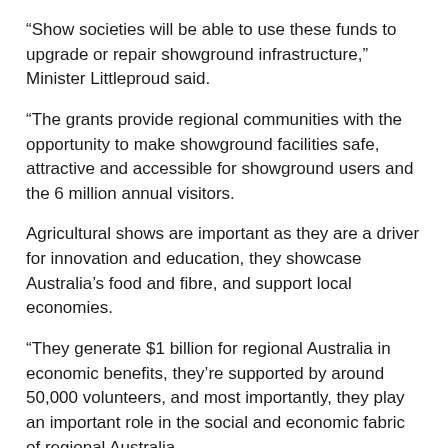“Show societies will be able to use these funds to upgrade or repair showground infrastructure,” Minister Littleproud said.
“The grants provide regional communities with the opportunity to make showground facilities safe, attractive and accessible for showground users and the 6 million annual visitors.
Agricultural shows are important as they are a driver for innovation and education, they showcase Australia’s food and fibre, and support local economies.
“They generate $1 billion for regional Australia in economic benefits, they’re supported by around 50,000 volunteers, and most importantly, they play an important role in the social and economic fabric of regional Australia.
“The last couple of years have seen unprecedented disruptions to agricultural shows, and this is our way of helping out,” Minister Littleproud added.